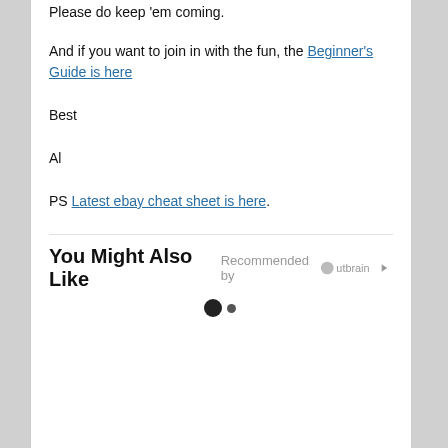Please do keep 'em coming.
And if you want to join in with the fun, the Beginner's Guide is here
Best
Al
PS Latest ebay cheat sheet is here.
You Might Also Like
Recommended by Outbrain